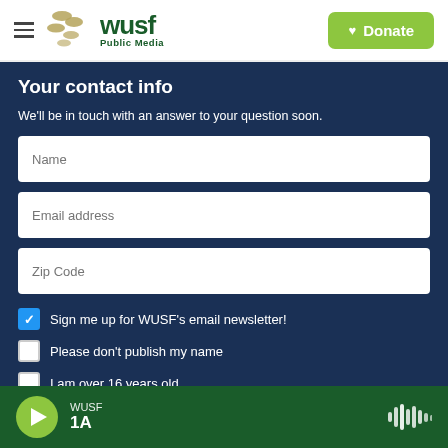WUSF Public Media — Donate
Your contact info
We'll be in touch with an answer to your question soon.
Name [input field]
Email address [input field]
Zip Code [input field]
Sign me up for WUSF's email newsletter! [checked]
Please don't publish my name [unchecked]
I am over 16 years old [unchecked]
I accept the Terms of Service [unchecked]
WUSF 1A [player bar]